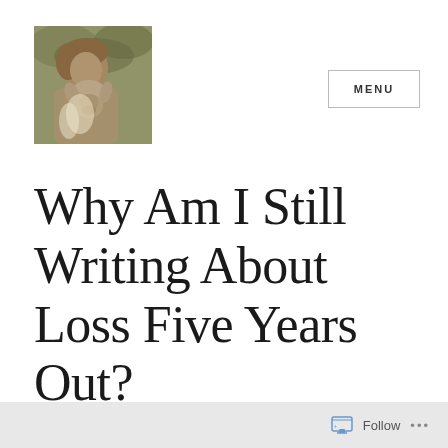[Figure (photo): Sepia-toned photograph of a person kissing or nuzzling an animal (appears to be a goat or dog), set against a leafy background. Black and white / sepia toned blog header image.]
Why Am I Still Writing About Loss Five Years Out?
Follow ...